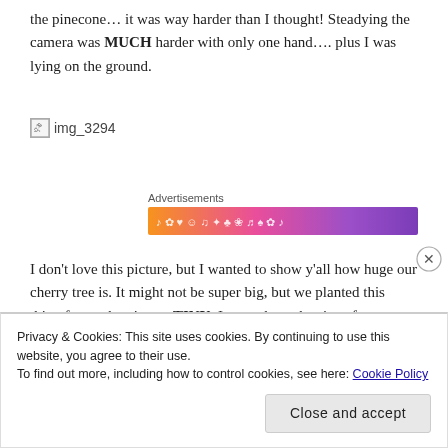the pinecone… it was way harder than I thought! Steadying the camera was MUCH harder with only one hand…. plus I was lying on the ground.
[Figure (photo): Broken image placeholder labeled img_3294]
Advertisements
[Figure (illustration): Colorful advertisement banner with orange-to-purple gradient and decorative icons]
I don't love this picture, but I wanted to show y'all how huge our cherry tree is. It might not be super big, but we planted this thing from when it was TINY. It was about the size of a marigold
Privacy & Cookies: This site uses cookies. By continuing to use this website, you agree to their use.
To find out more, including how to control cookies, see here: Cookie Policy
Close and accept